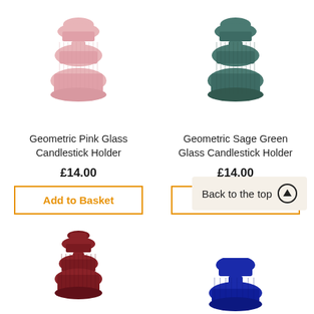[Figure (photo): Geometric pink glass candlestick holder product image]
[Figure (photo): Geometric sage green glass candlestick holder product image]
Geometric Pink Glass Candlestick Holder
Geometric Sage Green Glass Candlestick Holder
£14.00
£14.00
Add to Basket
Add to Basket
[Figure (photo): Geometric dark red/burgundy glass candlestick holder product image, partially visible]
[Figure (photo): Geometric blue glass candlestick holder product image, partially visible]
Back to the top